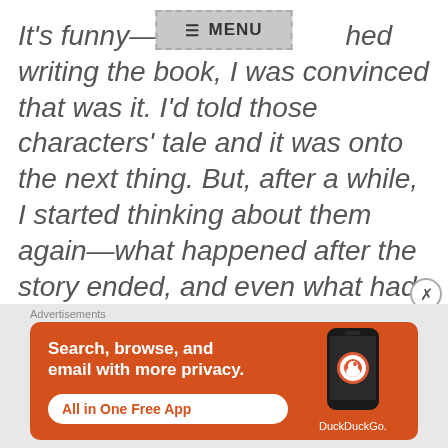It's funny—when I finished writing the book, I was convinced that was it. I'd told those characters' tale and it was onto the next thing. But, after a while, I started thinking about them again—what happened after the story ended, and even what had come before. I missed hanging out in that world and writing in that ornate
[Figure (screenshot): Navigation menu button overlay with hamburger icon and MENU text on grey background with dashed border]
[Figure (screenshot): Close/dismiss button (X in circle) on right side]
Advertisements
[Figure (screenshot): DuckDuckGo advertisement banner: orange background with white text 'Search, browse, and email with more privacy.' with 'All in One Free App' button and DuckDuckGo logo with phone image]